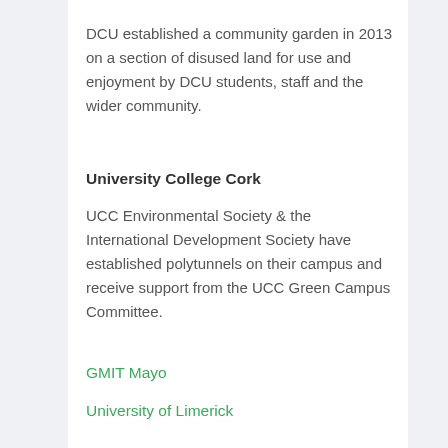DCU established a community garden in 2013 on a section of disused land for use and enjoyment by DCU students, staff and the wider community.
University College Cork
UCC Environmental Society & the International Development Society have established polytunnels on their campus and receive support from the UCC Green Campus Committee.
GMIT Mayo
University of Limerick